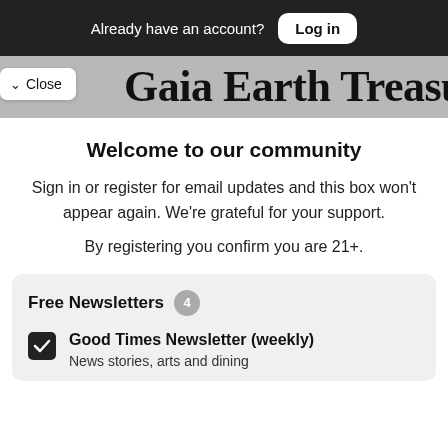Already have an account? Log in
Gaia Earth Treasures
Close
Welcome to our community
Sign in or register for email updates and this box won't appear again. We're grateful for your support.
By registering you confirm you are 21+.
Free Newsletters 4
Good Times Newsletter (weekly)
News stories, arts and dining